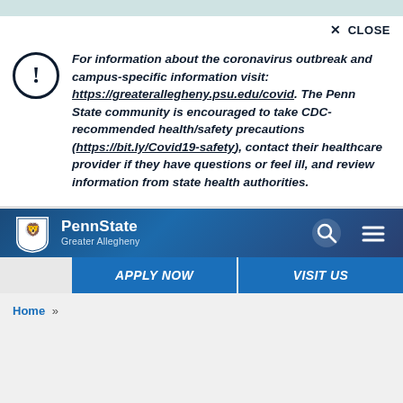× CLOSE
For information about the coronavirus outbreak and campus-specific information visit: https://greaterallegheny.psu.edu/covid. The Penn State community is encouraged to take CDC-recommended health/safety precautions (https://bit.ly/Covid19-safety), contact their healthcare provider if they have questions or feel ill, and review information from state health authorities.
[Figure (logo): Penn State Greater Allegheny logo with lion shield icon, search icon, and hamburger menu icon in a dark blue gradient header bar]
APPLY NOW
VISIT US
Home »